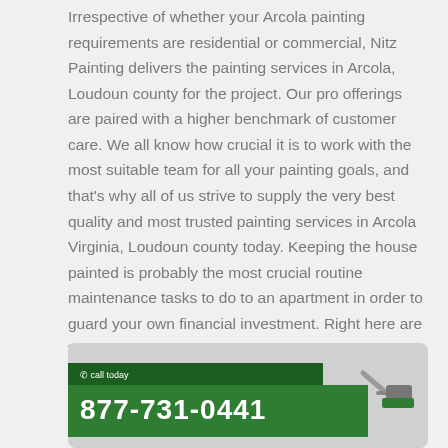Irrespective of whether your Arcola painting requirements are residential or commercial, Nitz Painting delivers the painting services in Arcola, Loudoun county for the project. Our pro offerings are paired with a higher benchmark of customer care. We all know how crucial it is to work with the most suitable team for all your painting goals, and that's why all of us strive to supply the very best quality and most trusted painting services in Arcola Virginia, Loudoun county today. Keeping the house painted is probably the most crucial routine maintenance tasks to do to an apartment in order to guard your own financial investment. Right here are the most common inquiries we get from our prospects regularly.
[Figure (infographic): Green painted roller banner advertisement showing phone number 877-731-0441 with 'call today' text and a paint roller graphic on the right side.]